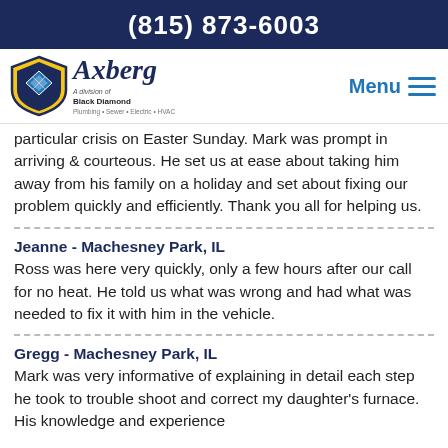(815) 873-6003
[Figure (logo): Axberg, A division of Black Diamond logo with shield emblem]
particular crisis on Easter Sunday. Mark was prompt in arriving & courteous. He set us at ease about taking him away from his family on a holiday and set about fixing our problem quickly and efficiently. Thank you all for helping us.
Jeanne - Machesney Park, IL
Ross was here very quickly, only a few hours after our call for no heat. He told us what was wrong and had what was needed to fix it with him in the vehicle.
Gregg - Machesney Park, IL
Mark was very informative of explaining in detail each step he took to trouble shoot and correct my daughter's furnace. His knowledge and experience